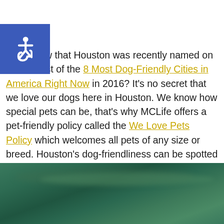[Figure (logo): Blue square accessibility icon with white wheelchair symbol]
…ou know that Houston was recently named on Rover's list of the 8 Most Dog-Friendly Cities in America Right Now in 2016? It's no secret that we love our dogs here in Houston. We know how special pets can be, that's why MCLife offers a pet-friendly policy called the We Love Pets Policy which welcomes all pets of any size or breed. Houston's dog-friendliness can be spotted around the city from its dog-friendly restaurants to its dog parks. Here are five dog parks around Houston for your and your pet to enjoy.
[Figure (photo): Photo of a dark green water surface, likely a pond or lake at a dog park]